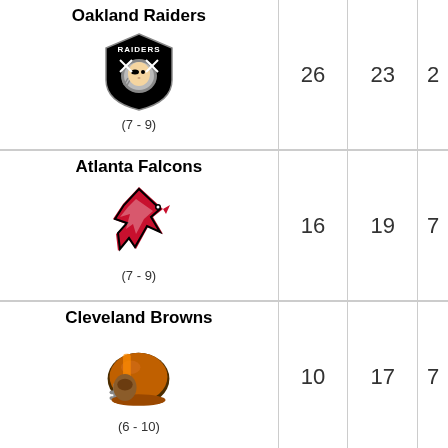| Team | Score1 | Score2 | Score3 |
| --- | --- | --- | --- |
| Oakland Raiders (7-9) | 26 | 23 | 2 |
| Atlanta Falcons (7-9) | 16 | 19 | 7 |
| Cleveland Browns (6-10) | 10 | 17 | 7 |